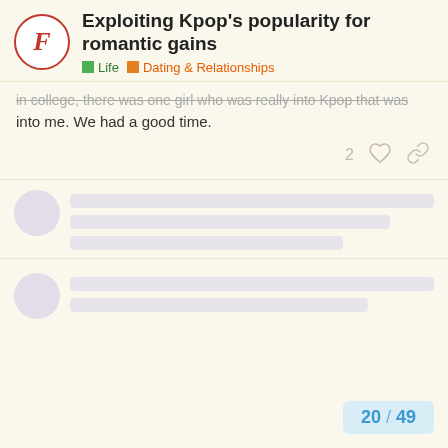Exploiting Kpop's popularity for romantic gains | Life | Dating & Relationships
in college, there was one girl who was really into Kpop that was into me. We had a good time.
2 [likes] [link]
[Figure (screenshot): Blurred/redacted forum post with avatar circle and redacted text lines]
[Figure (screenshot): Second blurred/redacted forum post with avatar circle and redacted text lines]
20 / 49